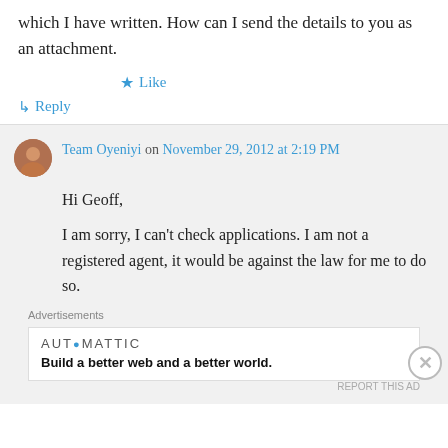which I have written. How can I send the details to you as an attachment.
★ Like
↳ Reply
Team Oyeniyi on November 29, 2012 at 2:19 PM
Hi Geoff,
I am sorry, I can't check applications. I am not a registered agent, it would be against the law for me to do so.
Advertisements
AUTOMATTIC Build a better web and a better world.